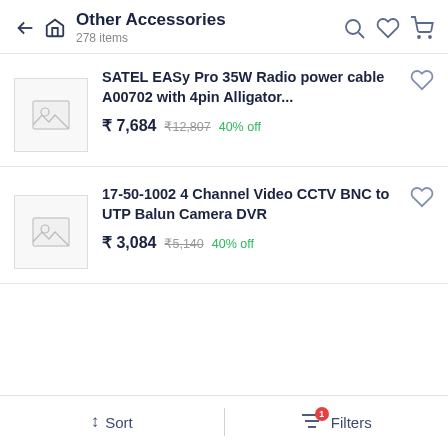Other Accessories
278 items
SATEL EASy Pro 35W Radio power cable A00702 with 4pin Alligator...
₹ 7,684  ₹12,807  40% off
[Figure (photo): Placeholder product image for SATEL EASy Pro item]
17-50-1002 4 Channel Video CCTV BNC to UTP Balun Camera DVR
₹ 3,084  ₹5,140  40% off
[Figure (photo): Placeholder product image for 17-50-1002 CCTV item]
↕ Sort  |  Filters (1)